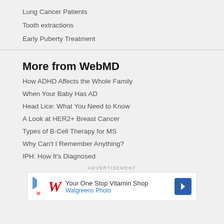Lung Cancer Patients
Tooth extractions
Early Puberty Treatment
More from WebMD
How ADHD Affects the Whole Family
When Your Baby Has AD
Head Lice: What You Need to Know
A Look at HER2+ Breast Cancer
Types of B-Cell Therapy for MS
Why Can't I Remember Anything?
IPH: How It's Diagnosed
ADVERTISEMENT
[Figure (other): Walgreens Photo advertisement banner: Your One Stop Vitamin Shop]